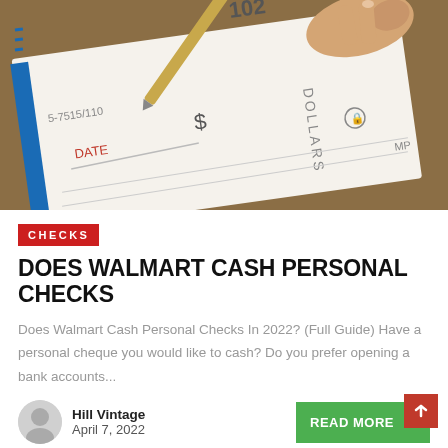[Figure (photo): Close-up photo of a hand holding a pen writing on a personal check. The check shows fields for DATE, DOLLARS, and a $ sign, with check number 102 and routing number 5-7515/110 visible. The check has blue borders and decorative elements.]
CHECKS
DOES WALMART CASH PERSONAL CHECKS
Does Walmart Cash Personal Checks In 2022? (Full Guide) Have a personal cheque you would like to cash? Do you prefer opening a bank accounts...
Hill Vintage
April 7, 2022